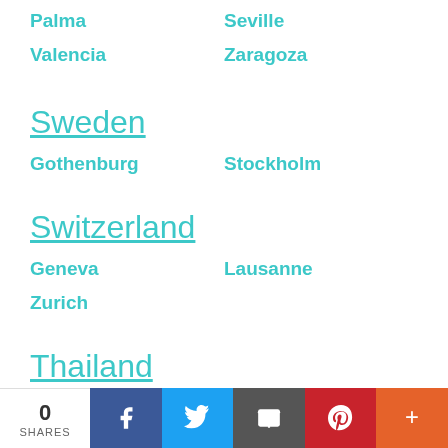Palma
Seville
Valencia
Zaragoza
Sweden
Gothenburg
Stockholm
Switzerland
Geneva
Lausanne
Zurich
Thailand
Bangkok
Turkey
0 SHARES